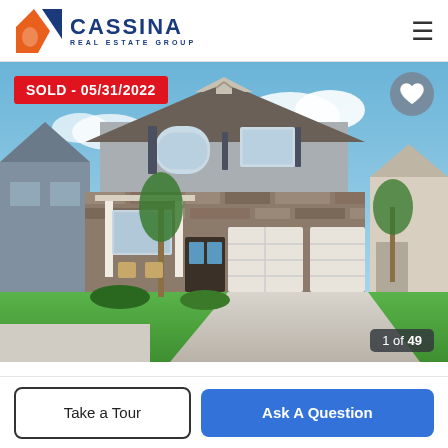[Figure (logo): Cassina Real Estate Group logo with orange/blue house icon, 'CASSINA' in blue bold text, 'REAL ESTATE GROUP' subtitle]
[Figure (photo): Exterior photo of a two-story craftsman-style home with stone facade, two-car garage, front porch with seating, palm trees, green lawn, blue sky with clouds. Sold badge reading 'SOLD - 05/31/2022' in top-left corner. Heart/favorite icon in top-right corner. Photo counter '1 of 49' in bottom-right corner.]
Take a Tour
Ask A Question